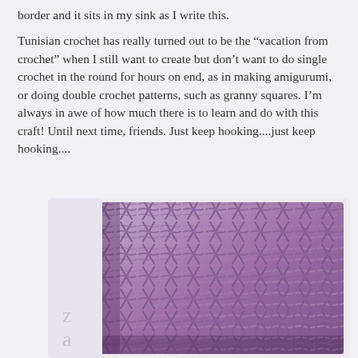border and it sits in my sink as I write this.
Tunisian crochet has really turned out to be the “vacation from crochet” when I still want to create but don’t want to do single crochet in the round for hours on end, as in making amigurumi, or doing double crochet patterns, such as granny squares. I’m always in awe of how much there is to learn and do with this craft! Until next time, friends. Just keep hooking....just keep hooking....
[Figure (photo): A purple/mauve Tunisian crochet swatch showing a textured diagonal lattice pattern, photographed on a white surface. Partial watermark letters 'z' and 'a' visible in lower left corner.]